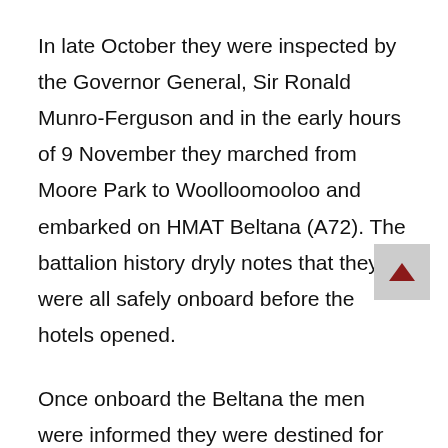In late October they were inspected by the Governor General, Sir Ronald Munro-Ferguson and in the early hours of 9 November they marched from Moore Park to Woolloomooloo and embarked on HMAT Beltana (A72). The battalion history dryly notes that they were all safely onboard before the hotels opened.
Once onboard the Beltana the men were informed they were destined for the Middle and they quickly settled into shipboard life. The sailors were at home when it came to slinging their hammocks and quickly bagged all the best